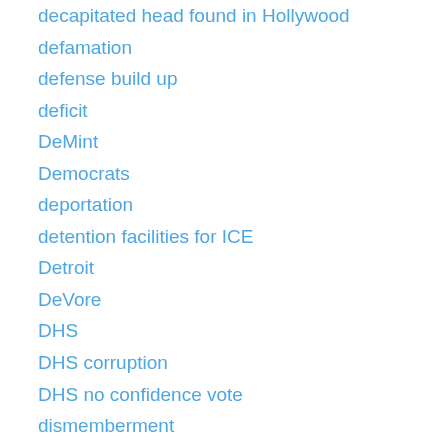decapitated head found in Hollywood
defamation
defense build up
deficit
DeMint
Democrats
deportation
detention facilities for ICE
Detroit
DeVore
DHS
DHS corruption
DHS no confidence vote
dismemberment
DNA
doctors
dod
Dodd-Frank bill
DOJ
DOJ Eric Holder